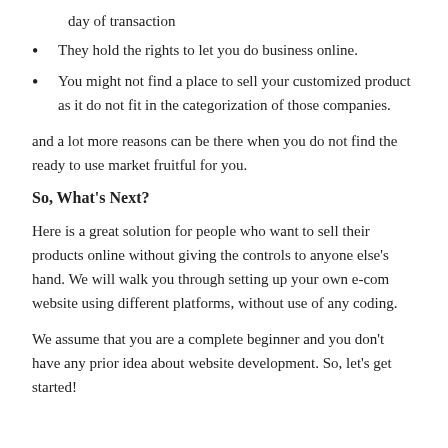day of transaction
They hold the rights to let you do business online.
You might not find a place to sell your customized product as it do not fit in the categorization of those companies.
and a lot more reasons can be there when you do not find the ready to use market fruitful for you.
So, What's Next?
Here is a great solution for people who want to sell their products online without giving the controls to anyone else's hand. We will walk you through setting up your own e-com website using different platforms, without use of any coding.
We assume that you are a complete beginner and you don't have any prior idea about website development. So, let's get started!